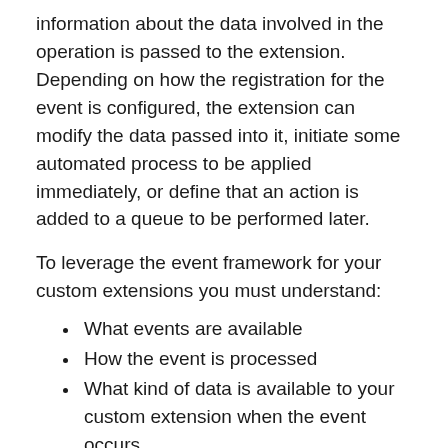information about the data involved in the operation is passed to the extension. Depending on how the registration for the event is configured, the extension can modify the data passed into it, initiate some automated process to be applied immediately, or define that an action is added to a queue to be performed later.
To leverage the event framework for your custom extensions you must understand:
What events are available
How the event is processed
What kind of data is available to your custom extension when the event occurs
What time and resource constraints apply
How to monitor performance
Available events